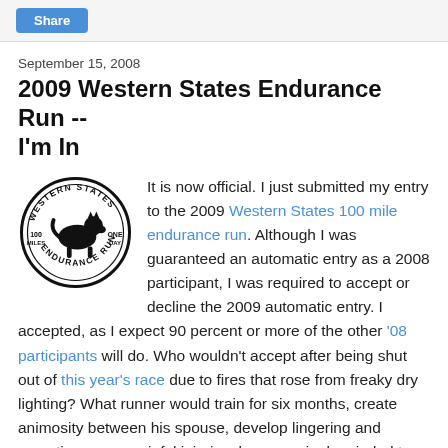Share
September 15, 2008
2009 Western States Endurance Run -- I'm In
[Figure (logo): Western States 100 Miles One Day Endurance Run circular logo with mountain lion]
It is now official. I just submitted my entry to the 2009 Western States 100 mile endurance run. Although I was guaranteed an automatic entry as a 2008 participant, I was required to accept or decline the 2009 automatic entry. I accepted, as I expect 90 percent or more of the other '08 participants will do. Who wouldn't accept after being shut out of this year's race due to fires that rose from freaky dry lighting? What runner would train for six months, create animosity between his spouse, develop lingering and sometimes very painful injuries, become single minded to the detriment of his oh-so-important social graces, concoct visions of grandeur in his